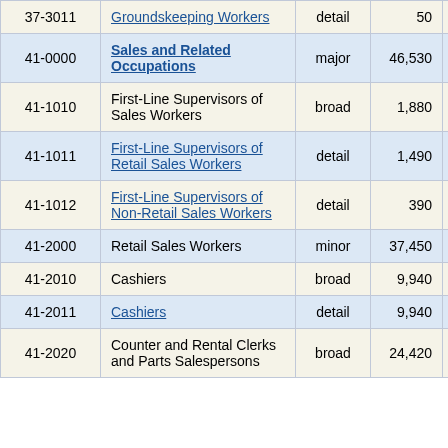| Code | Occupation | Level | Employment | Pct |
| --- | --- | --- | --- | --- |
| 37-3011 | Groundskeeping Workers | detail | 50 | 39.4% |
| 41-0000 | Sales and Related Occupations | major | 46,530 | 2.5% |
| 41-1010 | First-Line Supervisors of Sales Workers | broad | 1,880 | 6.5% |
| 41-1011 | First-Line Supervisors of Retail Sales Workers | detail | 1,490 | 7.7% |
| 41-1012 | First-Line Supervisors of Non-Retail Sales Workers | detail | 390 | 12.3% |
| 41-2000 | Retail Sales Workers | minor | 37,450 | 2.8% |
| 41-2010 | Cashiers | broad | 9,940 | 6.6% |
| 41-2011 | Cashiers | detail | 9,940 | 6.6% |
| 41-2020 | Counter and Rental Clerks and Parts Salespersons | broad | 24,420 | 3.1% |